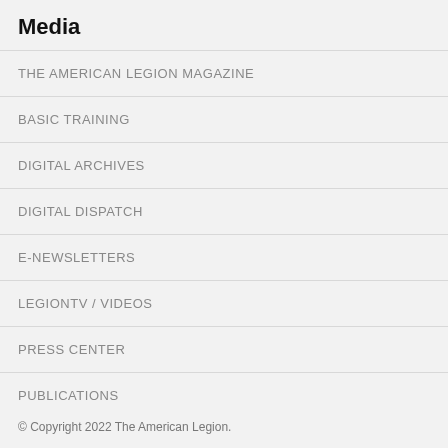Media
THE AMERICAN LEGION MAGAZINE
BASIC TRAINING
DIGITAL ARCHIVES
DIGITAL DISPATCH
E-NEWSLETTERS
LEGIONTV / VIDEOS
PRESS CENTER
PUBLICATIONS
© Copyright 2022 The American Legion.